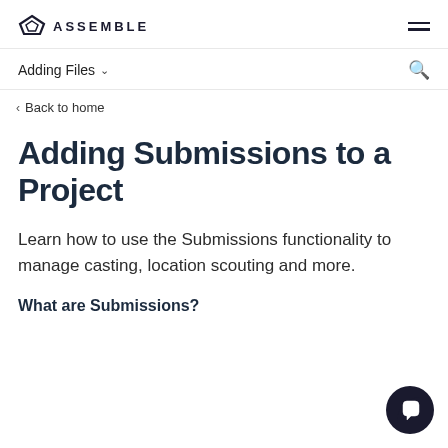ASSEMBLE
Adding Files
Back to home
Adding Submissions to a Project
Learn how to use the Submissions functionality to manage casting, location scouting and more.
What are Submissions?